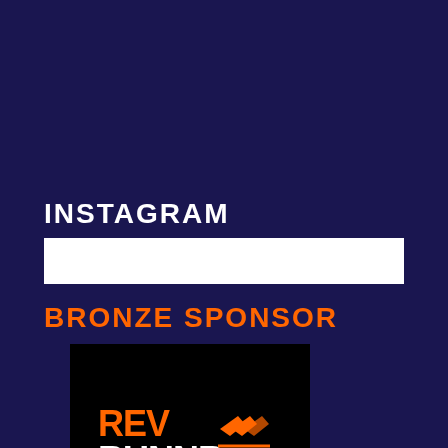INSTAGRAM
[Figure (other): White horizontal bar (Instagram feed placeholder)]
BRONZE SPONSOR
[Figure (logo): Rev Runnr logo on black background — orange and white stylized text with speed-stripe chevron marks]